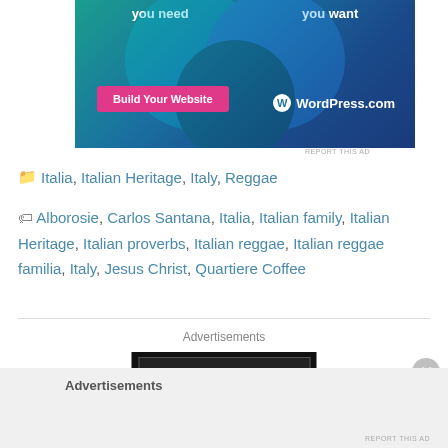[Figure (screenshot): WordPress.com banner ad with teal/blue gradient background, pink 'Build Your Website' button, and WordPress.com logo]
REPORT THIS AD
Italia, Italian Heritage, Italy, Reggae
Alborosie, Carlos Santana, Italia, Italian family, Italian Heritage, Italian proverbs, Italian reggae, Italian reggae familia, Italy, Jesus Christ, Quartiere Coffee
[Figure (screenshot): Advertisements label with partial banner ad showing black background with red circle logo]
Advertisements
REPORT THIS AD